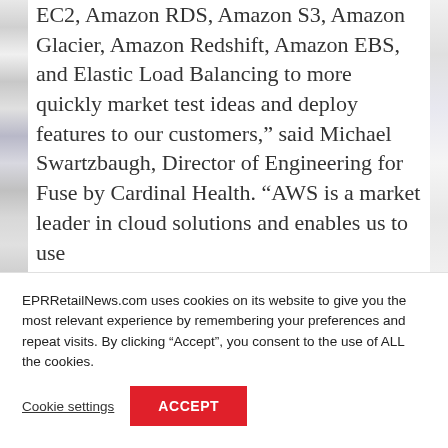EC2, Amazon RDS, Amazon S3, Amazon Glacier, Amazon Redshift, Amazon EBS, and Elastic Load Balancing to more quickly market test ideas and deploy features to our customers," said Michael Swartzbaugh, Director of Engineering for Fuse by Cardinal Health. “AWS is a market leader in cloud solutions and enables us to use
EPRRetailNews.com uses cookies on its website to give you the most relevant experience by remembering your preferences and repeat visits. By clicking “Accept”, you consent to the use of ALL the cookies.
Cookie settings
ACCEPT